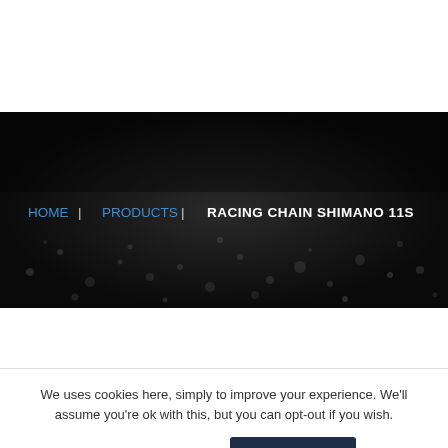[Figure (screenshot): Dark hero banner with bokeh/particle background. Breadcrumb navigation showing HOME | PRODUCTS | RACING CHAIN SHIMANO 11S]
We uses cookies here, simply to improve your experience. We'll assume you're ok with this, but you can opt-out if you wish.
Cookie settings
OK, let's go!